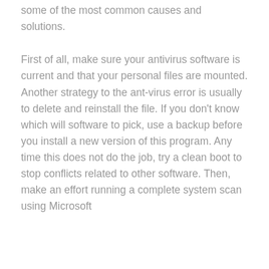some of the most common causes and solutions.
First of all, make sure your antivirus software is current and that your personal files are mounted. Another strategy to the ant-virus error is usually to delete and reinstall the file. If you don't know which will software to pick, use a backup before you install a new version of this program. Any time this does not do the job, try a clean boot to stop conflicts related to other software. Then, make an effort running a complete system scan using Microsoft